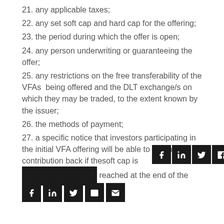21. any applicable taxes;
22. any set soft cap and hard cap for the offering;
23. the period during which the offer is open;
24. any person underwriting or guaranteeing the offer;
25. any restrictions on the free transferability of the VFAs  being offered and the DLT exchange/s on which they may be traded, to the extent known by the issuer;
26. the methods of payment;
27. a specific notice that investors participating in the initial VFA offering will be able to get their contribution back if the soft cap is not reached at the end of the